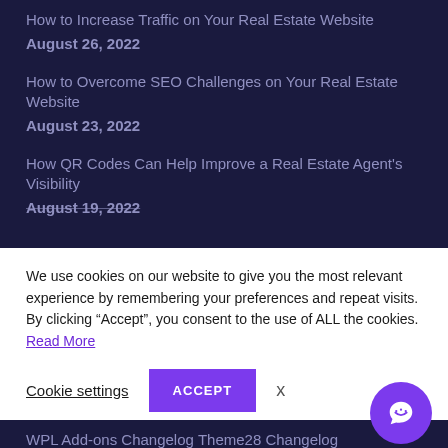How to Increase Traffic on Your Real Estate Website
August 26, 2022
How to Overcome SEO Challenges on Your Real Estate Website
August 23, 2022
How QR Codes Can Help Improve a Real Estate Agent's Visibility
August 19, 2022
We use cookies on our website to give you the most relevant experience by remembering your preferences and repeat visits. By clicking “Accept”, you consent to the use of ALL the cookies. Read More
Cookie settings
ACCEPT
x
WPL Add-ons Changelog
Theme28 Changelog